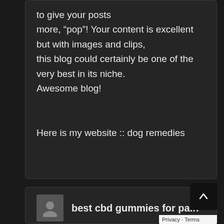to give your posts more, “pop”! Your content is excellent but with images and clips, this blog could certainly be one of the very best in its niche. Awesome blog!

Here is my website :: dog remedies
best cbd gummies for pain
napsal: